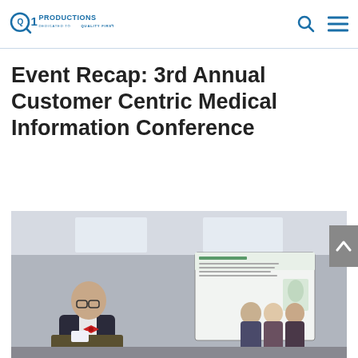Q1 PRODUCTIONS – Dedicated to Quality First
Event Recap: 3rd Annual Customer Centric Medical Information Conference
[Figure (photo): A speaker at a podium presenting to a panel of attendees in a conference room. A projection screen with a slide is visible in the background.]